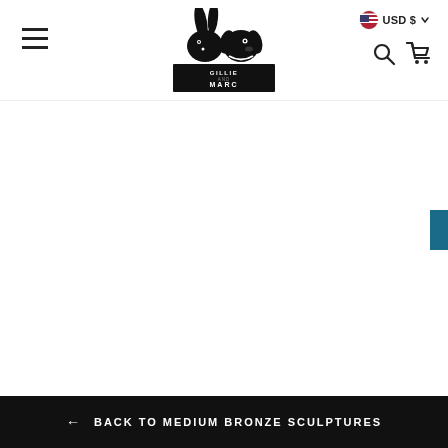Gillie and Marc — USD $ — Menu, Search, Cart
[Figure (logo): Gillie and Marc logo featuring a rabbit and dog facing each other above a black banner with the text GILLIE AND MARC]
← BACK TO MEDIUM BRONZE SCULPTURES